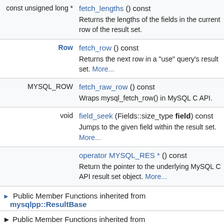| Return type | Function |
| --- | --- |
| const unsigned long * | fetch_lengths () const
Returns the lengths of the fields in the current row of the result set. |
| Row | fetch_row () const
Returns the next row in a "use" query's result set. More... |
| MYSQL_ROW | fetch_raw_row () const
Wraps mysql_fetch_row() in MySQL C API. |
| void | field_seek (Fields::size_type field) const
Jumps to the given field within the result set. More... |
|  | operator MYSQL_RES * () const
Return the pointer to the underlying MySQL C API result set object. More... |
▶ Public Member Functions inherited from mysqlpp::ResultBase
▶ Public Member Functions inherited from mysqlpp::OptionalExceptions